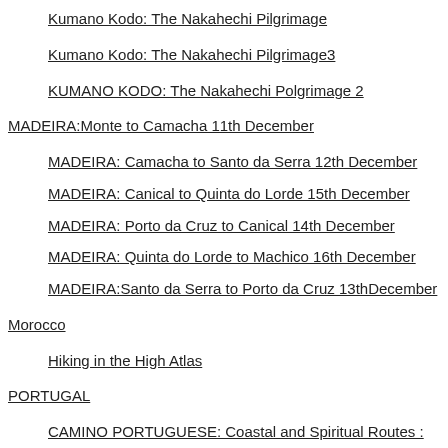Kumano Kodo: The Nakahechi Pilgrimage
Kumano Kodo: The Nakahechi Pilgrimage3
KUMANO KODO: The Nakahechi Polgrimage 2
MADEIRA:Monte to Camacha 11th December
MADEIRA: Camacha to Santo da Serra 12th December
MADEIRA: Canical to Quinta do Lorde 15th December
MADEIRA: Porto da Cruz to Canical 14th December
MADEIRA: Quinta do Lorde to Machico 16th December
MADEIRA:Santo da Serra to Porto da Cruz 13thDecember
Morocco
Hiking in the High Atlas
PORTUGAL
CAMINO PORTUGUESE: Coastal and Spiritual Routes : Part 1